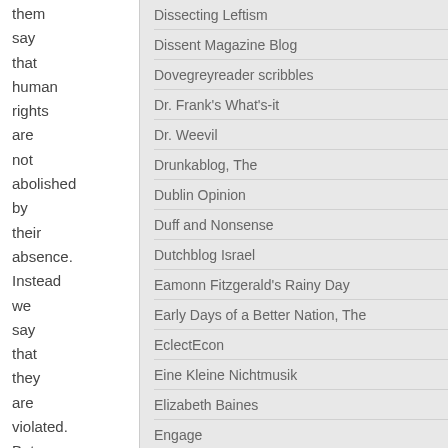them say that human rights are not abolished by their absence. Instead we say that they are violated. But an atheist, at least,
Dissecting Leftism
Dissent Magazine Blog
Dovegreyreader scribbles
Dr. Frank's What's-it
Dr. Weevil
Drunkablog, The
Dublin Opinion
Duff and Nonsense
Dutchblog Israel
Eamonn Fitzgerald's Rainy Day
Early Days of a Better Nation, The
EclectEcon
Eine Kleine Nichtmusik
Elizabeth Baines
Engage
Ephems
Esquerda Republicana (Portuguese)
Euston Manifesto, The